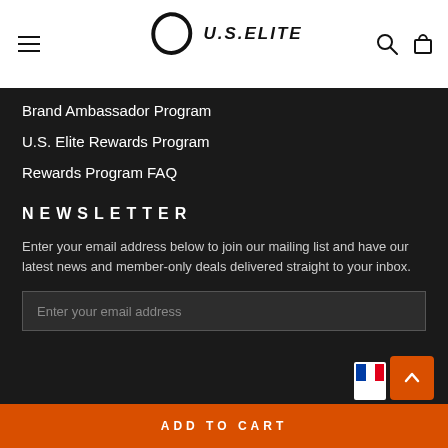U.S. ELITE
Brand Ambassador Program
U.S. Elite Rewards Program
Rewards Program FAQ
NEWSLETTER
Enter your email address below to join our mailing list and have our latest news and member-only deals delivered straight to your inbox.
Enter your email address